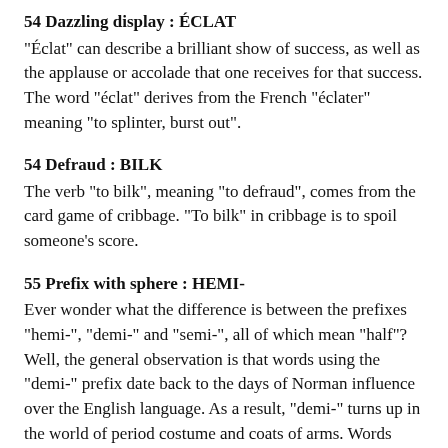54 Defraud : BILK
"Éclat" can describe a brilliant show of success, as well as the applause or accolade that one receives for that success. The word "éclat" derives from the French "éclater" meaning "to splinter, burst out".
54 Defraud : BILK
The verb "to bilk", meaning "to defraud", comes from the card game of cribbage. "To bilk" in cribbage is to spoil someone's score.
55 Prefix with sphere : HEMI-
Ever wonder what the difference is between the prefixes "hemi-", "demi-" and "semi-", all of which mean "half"? Well, the general observation is that words using the "demi-" prefix date back to the days of Norman influence over the English language. As a result, "demi-" turns up in the world of period costume and coats of arms. Words using "hemi-" tend to have Greek roots, and are prevalent in the world of the sciences and the medical field. Words